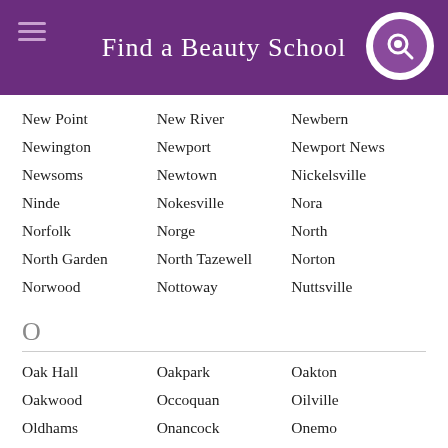Find a Beauty School
New Point
New River
Newbern
Newington
Newport
Newport News
Newsoms
Newtown
Nickelsville
Ninde
Nokesville
Nora
Norfolk
Norge
North
North Garden
North Tazewell
Norton
Norwood
Nottoway
Nuttsville
O
Oak Hall
Oakpark
Oakton
Oakwood
Occoquan
Oilville
Oldhams
Onancock
Onemo
Onley
Ophelia
Orange
Ordinary
Oriskany
Orkney Springs